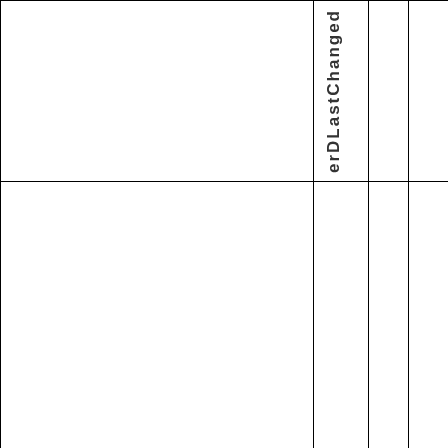|  | erDLastChanged |  |  |
| --- | --- | --- | --- |
|  |  |  |  |